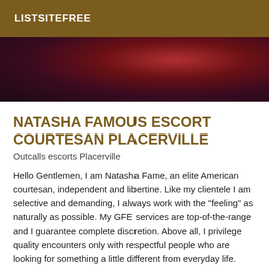LISTSITEFREE
[Figure (photo): Dark reddish-toned photo background, abstract dimly lit scene]
NATASHA FAMOUS ESCORT COURTESAN PLACERVILLE
Outcalls escorts Placerville
Hello Gentlemen, I am Natasha Fame, an elite American courtesan, independent and libertine. Like my clientele I am selective and demanding, I always work with the "feeling" as naturally as possible. My GFE services are top-of-the-range and I guarantee complete discretion. Above all, I privilege quality encounters only with respectful people who are looking for something a little different from everyday life. Adventure and eroticism that will help them to forget worries and routine. I visit and meet serious epicurean men and couples who will seduce me and who appreciate the good things in life as